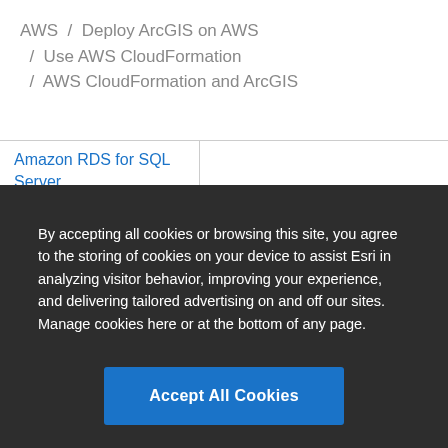AWS / Deploy ArcGIS on AWS / Use AWS CloudFormation / AWS CloudFormation and ArcGIS
| Amazon RDS for SQL Server |  |
| --- | --- |
By accepting all cookies or browsing this site, you agree to the storing of cookies on your device to assist Esri in analyzing visitor behavior, improving your experience, and delivering tailored advertising on and off our sites. Manage cookies here or at the bottom of any page.
Accept All Cookies
Cookies Settings